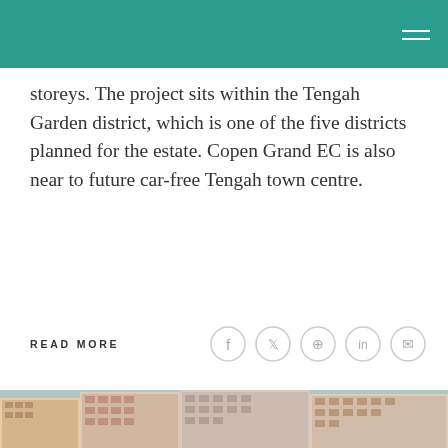storeys. The project sits within the Tengah Garden district, which is one of the five districts planned for the estate. Copen Grand EC is also near to future car-free Tengah town centre.
READ MORE
[Figure (photo): Aerial photo of an MRT train on an elevated track with HDB apartment blocks in the background and trees in the foreground, Singapore.]